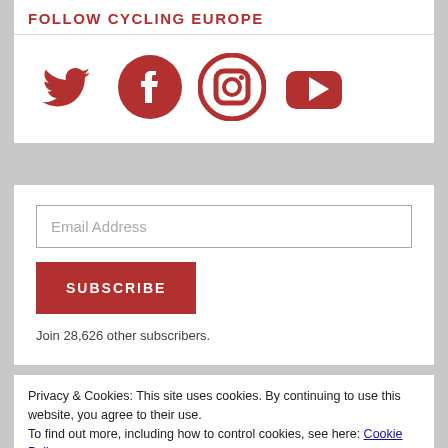FOLLOW CYCLING EUROPE
[Figure (illustration): Four social media icons in red: Twitter bird, Facebook circle with F, Instagram camera circle, YouTube play button rectangle]
Email Address
SUBSCRIBE
Join 28,626 other subscribers.
Privacy & Cookies: This site uses cookies. By continuing to use this website, you agree to their use.
To find out more, including how to control cookies, see here: Cookie Policy
Close and accept